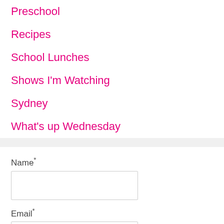Preschool
Recipes
School Lunches
Shows I'm Watching
Sydney
What's up Wednesday
Name*
Email*